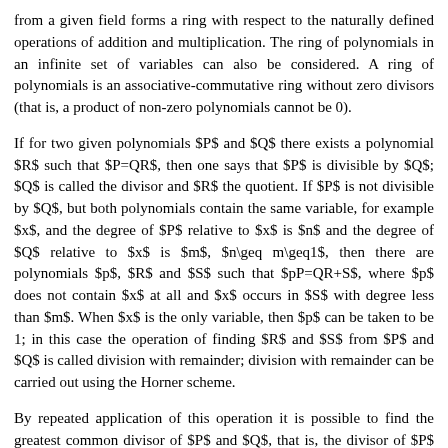from a given field forms a ring with respect to the naturally defined operations of addition and multiplication. The ring of polynomials in an infinite set of variables can also be considered. A ring of polynomials is an associative-commutative ring without zero divisors (that is, a product of non-zero polynomials cannot be 0).
If for two given polynomials $P$ and $Q$ there exists a polynomial $R$ such that $P=QR$, then one says that $P$ is divisible by $Q$; $Q$ is called the divisor and $R$ the quotient. If $P$ is not divisible by $Q$, but both polynomials contain the same variable, for example $x$, and the degree of $P$ relative to $x$ is $n$ and the degree of $Q$ relative to $x$ is $m$, $n\geq m\geq1$, then there are polynomials $p$, $R$ and $S$ such that $pP=QR+S$, where $p$ does not contain $x$ at all and $x$ occurs in $S$ with degree less than $m$. When $x$ is the only variable, then $p$ can be taken to be 1; in this case the operation of finding $R$ and $S$ from $P$ and $Q$ is called division with remainder; division with remainder can be carried out using the Horner scheme.
By repeated application of this operation it is possible to find the greatest common divisor of $P$ and $Q$, that is, the divisor of $P$ and $Q$ which is divisible by any common divisor of these polynomials (see Euclidean algorithm). Two polynomials with greatest common divisor equal to 1 are called coprime.